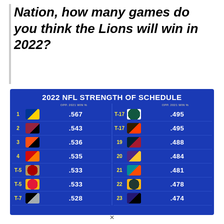Nation, how many games do you think the Lions will win in 2022?
[Figure (table-as-image): 2022 NFL Strength of Schedule infographic showing team rankings by opponent 2021 win percentage. Left column ranks 1-T7, right column ranks T-17 to 23. Left: 1 Rams .567, 2 Cardinals .543, 3 Bengals .536, 4 Buccaneers .535, T-5 49ers .533, T-5 Chiefs .533, T-7 Raiders .528. Right: T-17 Jets .495, T-17 Browns .495, 19 Texans .488, 20 Vikings .484, 21 Dolphins .481, 22 Packers .478, 23 Ravens .474]